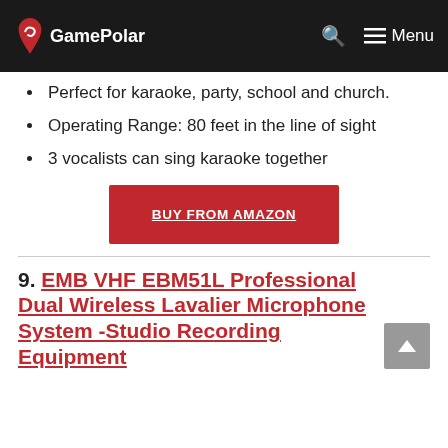GamePolar — Menu
Perfect for karaoke, party, school and church.
Operating Range: 80 feet in the line of sight
3 vocalists can sing karaoke together
BUY FROM AMAZON
9. EMB VHF EBM51L Professional Dual Wireless Lavalier Microphone System -Studio Recording Equipment